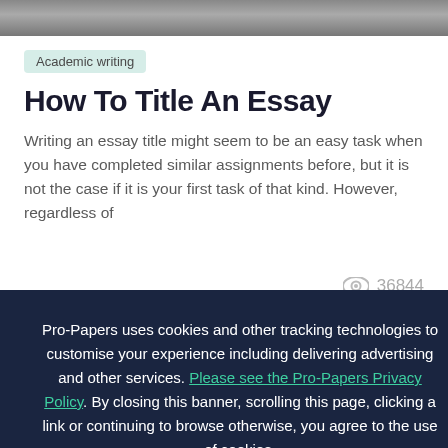[Figure (photo): Top strip of a person photo, cropped, used as header image]
Academic writing
How To Title An Essay
Writing an essay title might seem to be an easy task when you have completed similar assignments before, but it is not the case if it is your first task of that kind. However, regardless of
36844
Pro-Papers uses cookies and other tracking technologies to customise your experience including delivering advertising and other services. Please see the Pro-Papers Privacy Policy. By closing this banner, scrolling this page, clicking a link or continuing to browse otherwise, you agree to the use of cookies.
OK
Next >
& save 15% on
ORDER NOW